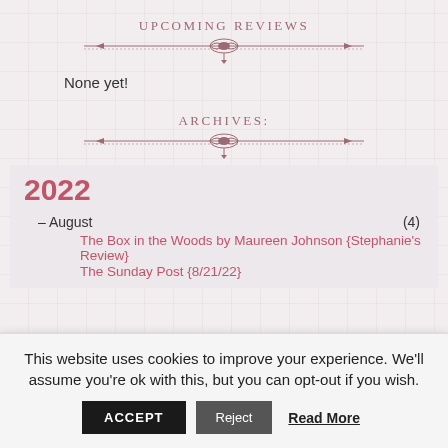UPCOMING REVIEWS
None yet!
ARCHIVES:
2022
– August (4)
The Box in the Woods by Maureen Johnson {Stephanie's Review}
The Sunday Post {8/21/22}
This website uses cookies to improve your experience. We'll assume you're ok with this, but you can opt-out if you wish.
ACCEPT  Reject  Read More